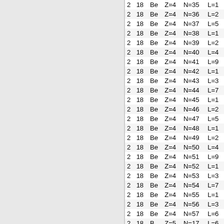| col1 | col2 | col3 | col4 | col5 | col6 |
| --- | --- | --- | --- | --- | --- |
| 2 | 18 | Be | Z=4 | N=35 | L=1 |
| 2 | 18 | Be | Z=4 | N=36 | L=2 |
| 2 | 18 | Be | Z=4 | N=37 | L=5 |
| 2 | 18 | Be | Z=4 | N=38 | L=1 |
| 2 | 18 | Be | Z=4 | N=39 | L=2 |
| 2 | 18 | Be | Z=4 | N=40 | L=4 |
| 2 | 18 | Be | Z=4 | N=41 | L=9 |
| 2 | 18 | Be | Z=4 | N=42 | L=1 |
| 2 | 18 | Be | Z=4 | N=43 | L=3 |
| 2 | 18 | Be | Z=4 | N=44 | L=7 |
| 2 | 18 | Be | Z=4 | N=45 | L=1 |
| 2 | 18 | Be | Z=4 | N=46 | L=2 |
| 2 | 18 | Be | Z=4 | N=47 | L=5 |
| 2 | 18 | Be | Z=4 | N=48 | L=1 |
| 2 | 18 | Be | Z=4 | N=49 | L=2 |
| 2 | 18 | Be | Z=4 | N=50 | L=4 |
| 2 | 18 | Be | Z=4 | N=51 | L=9 |
| 2 | 18 | Be | Z=4 | N=52 | L=1 |
| 2 | 18 | Be | Z=4 | N=53 | L=3 |
| 2 | 18 | Be | Z=4 | N=54 | L=7 |
| 2 | 18 | Be | Z=4 | N=55 | L=1 |
| 2 | 18 | Be | Z=4 | N=56 | L=3 |
| 2 | 18 | Be | Z=4 | N=57 | L=6 |
| 2 | 18 | B | Z=5 | N=17 | L=6 |
| 2 | 18 | B | Z=5 | N=18 | L=1 |